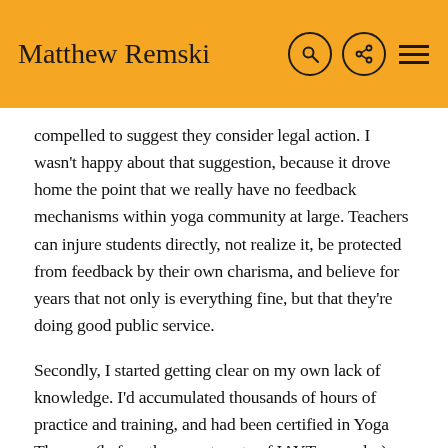Matthew Remski
compelled to suggest they consider legal action. I wasn't happy about that suggestion, because it drove home the point that we really have no feedback mechanisms within yoga community at large. Teachers can injure students directly, not realize it, be protected from feedback by their own charisma, and believe for years that not only is everything fine, but that they're doing good public service.
Secondly, I started getting clear on my own lack of knowledge. I'd accumulated thousands of hours of practice and training, and had been certified in Yoga Therapy (before the recent spate of IAYT upgrades), but quickly found that this didn't come close to equipping me with the real biomechanics data that I needed to assess and help clients avoid and manage injuries. I did my best to remain clear about my scope of practice, which was definitely shrinking. Meanwhile, I saw other asana